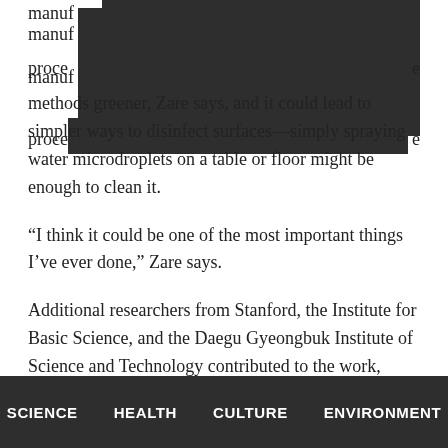manufa[redacted] proces[redacted]e methods greener, Zare says, and it could lead to simpler ways to disinfect surfaces—simply spraying water microdroplets on a table or floor might be enough to clean it.
“I think it could be one of the most important things I’ve ever done,” Zare says.
Additional researchers from Stanford, the Institute for Basic Science, and the Daegu Gyeongbuk Institute of Science and Technology contributed to the work, which appears in PNAS.
SCIENCE   HEALTH   CULTURE   ENVIRONMENT